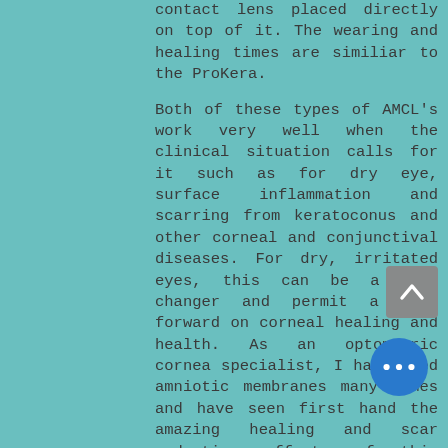contact lens placed directly on top of it. The wearing and healing times are similiar to the ProKera.

Both of these types of AMCL's work very well when the clinical situation calls for it such as for dry eye, surface inflammation and scarring from keratoconus and other corneal and conjunctival diseases. For dry, irritated eyes, this can be a game changer and permit a leap forward on corneal healing and health. As an optometric cornea specialist, I have used amniotic membranes many times and have seen first hand the amazing healing and scar reduction effects of this novel therapy.
Call Dr. Scheno @ 516.409... to set up a consultation to